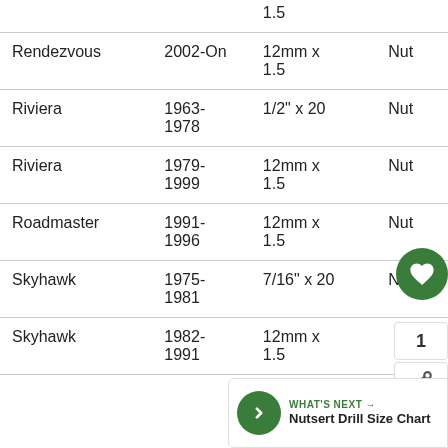| Model | Year | Thread Size | Type |
| --- | --- | --- | --- |
|  |  | 1.5 |  |
| Rendezvous | 2002-On | 12mm x 1.5 | Nut |
| Riviera | 1963-1978 | 1/2" x 20 | Nut |
| Riviera | 1979-1999 | 12mm x 1.5 | Nut |
| Roadmaster | 1991-1996 | 12mm x 1.5 | Nut |
| Skyhawk | 1975-1981 | 7/16" x 20 | Nut |
| Skyhawk | 1982-1991 | 12mm x 1.5 |  |